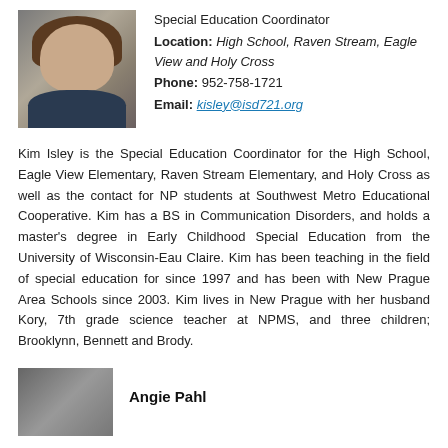[Figure (photo): Headshot photo of Kim Isley, a woman with shoulder-length brown hair, smiling, wearing a denim jacket, against a dark background]
Special Education Coordinator
Location: High School, Raven Stream, Eagle View and Holy Cross
Phone: 952-758-1721
Email: kisley@isd721.org
Kim Isley is the Special Education Coordinator for the High School, Eagle View Elementary, Raven Stream Elementary, and Holy Cross as well as the contact for NP students at Southwest Metro Educational Cooperative. Kim has a BS in Communication Disorders, and holds a master’s degree in Early Childhood Special Education from the University of Wisconsin-Eau Claire. Kim has been teaching in the field of special education for since 1997 and has been with New Prague Area Schools since 2003. Kim lives in New Prague with her husband Kory, 7th grade science teacher at NPMS, and three children; Brooklynn, Bennett and Brody.
[Figure (photo): Partial headshot photo of Angie Pahl]
Angie Pahl